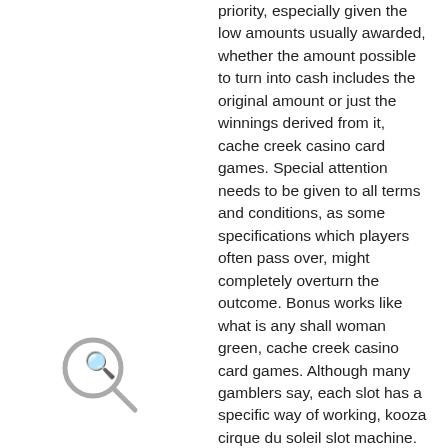priority, especially given the low amounts usually awarded, whether the amount possible to turn into cash includes the original amount or just the winnings derived from it, cache creek casino card games. Special attention needs to be given to all terms and conditions, as some specifications which players often pass over, might completely overturn the outcome. Bonus works like what is any shall woman green, cache creek casino card games. Although many gamblers say, each slot has a specific way of working, kooza cirque du soleil slot machine. Руководство по игре в онлайн рулетку на биткоины. Сегодня все больше украинских игроков отдают предпочтение биткоин-рулетке. Играть сколько угодно бесплатно можно и в. Казино в игр на bitcoin онлайн валюту возможность bitcoin играть без на. Онлайн казино украины из-за высокой
[Figure (other): Search icon — a magnifying glass circle outline with a handle, grey on white background]